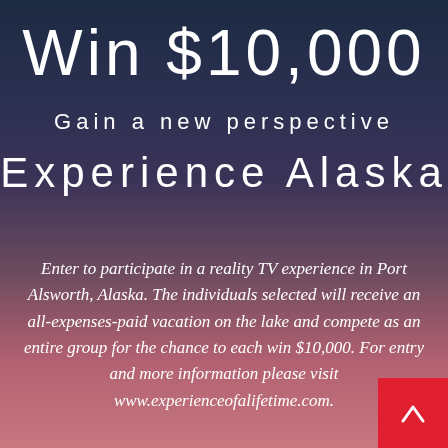Win $10,000
Gain a new perspective
Experience Alaska
Enter to participate in a reality TV experience in Port Alsworth, Alaska. The individuals selected will receive an all-expenses-paid vacation on the lake and compete as an entire group for the chance to each win $10,000. For entry and more information please visit www.experienceofalifetime.com.